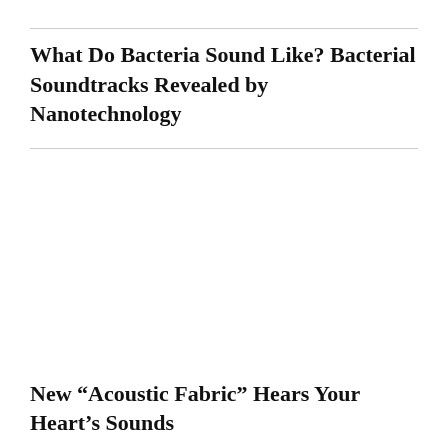What Do Bacteria Sound Like? Bacterial Soundtracks Revealed by Nanotechnology
New “Acoustic Fabric” Hears Your Heart’s Sounds